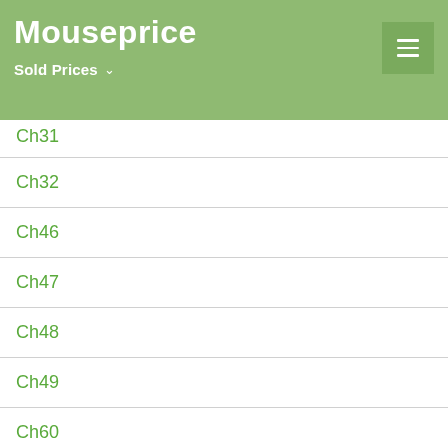Mouseprice
Ch31
Ch32
Ch46
Ch47
Ch48
Ch49
Ch60
Ch61
Ch62
Ch63